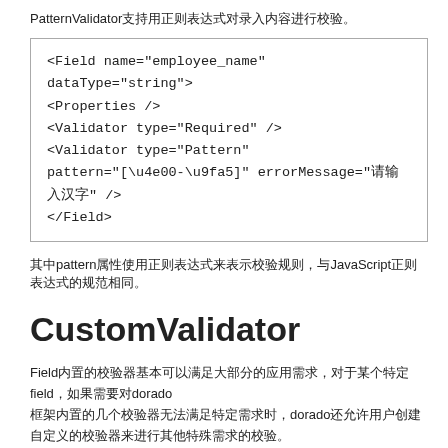PatternValidator支持用正则表达式对录入内容进行校验。
[Figure (screenshot): Code block showing XML field definition with PatternValidator: <Field name="employee_name" dataType="string"> <Properties /> <Validator type="Required" /> <Validator type="Pattern" pattern="[\u4e00-\u9fa5]" errorMessage="请输入汉字" /> </Field>]
其中pattern属性使用正则表达式来表示校验规则，与JavaScript正则表达式的规范相同。
CustomValidator
Field内置的校验器基本可以满足大部分的应用需求，对于某个特定field，如果需要对dorado 框架内置的几个校验器无法满足特定需求时，dorado还允许用户创建自定义的校验器来进行其他特殊需求的校验。
如果需要实现以Mail格式校验的MailValidator,则需要如下:
代码示例